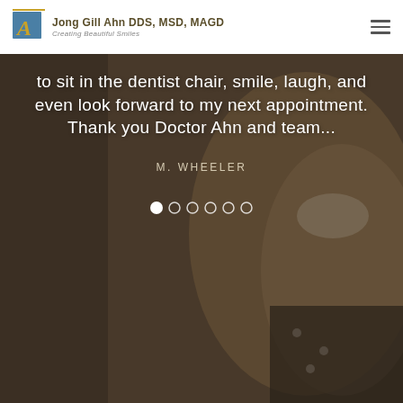Jong Gill Ahn DDS, MSD, MAGD — Creating Beautiful Smiles
[Figure (photo): Dark background with partial view of a smiling woman, dental office testimonial slider image]
to sit in the dentist chair, smile, laugh, and even look forward to my next appointment. Thank you Doctor Ahn and team...
M. WHEELER
[Figure (other): Carousel navigation dots — 6 dots, first one filled/active, rest outlined]